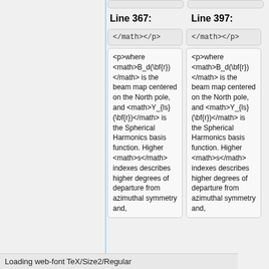Line 367:
Line 397:
</math></p>
</math></p>
<p>where <math>B_d(\bf{r})</math> is the beam map centered on the North pole, and <math>Y_{ls}(\bf{r})</math> is the Spherical Harmonics basis function. Higher <math>s</math> indexes describes higher degrees of departure from azimuthal symmetry and,
<p>where <math>B_d(\bf{r})</math> is the beam map centered on the North pole, and <math>Y_{ls}(\bf{r})</math> is the Spherical Harmonics basis function. Higher <math>s</math> indexes describes higher degrees of departure from azimuthal symmetry and,
Loading web-font TeX/Size2/Regular